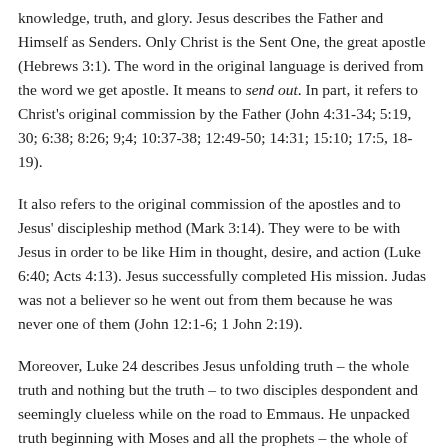knowledge, truth, and glory. Jesus describes the Father and Himself as Senders. Only Christ is the Sent One, the great apostle (Hebrews 3:1). The word in the original language is derived from the word we get apostle. It means to send out. In part, it refers to Christ's original commission by the Father (John 4:31-34; 5:19, 30; 6:38; 8:26; 9;4; 10:37-38; 12:49-50; 14:31; 15:10; 17:5, 18-19).
It also refers to the original commission of the apostles and to Jesus' discipleship method (Mark 3:14). They were to be with Jesus in order to be like Him in thought, desire, and action (Luke 6:40; Acts 4:13). Jesus successfully completed His mission. Judas was not a believer so he went out from them because he was never one of them (John 12:1-6; 1 John 2:19).
Moreover, Luke 24 describes Jesus unfolding truth – the whole truth and nothing but the truth – to two disciples despondent and seemingly clueless while on the road to Emmaus. He unpacked truth beginning with Moses and all the prophets – the whole of Scripture to